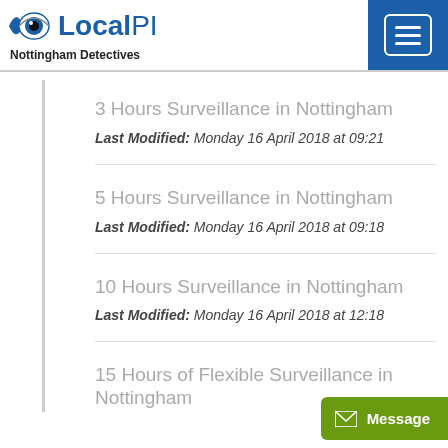LocalPI — Nottingham Detectives
3 Hours Surveillance in Nottingham
Last Modified: Monday 16 April 2018 at 09:21
5 Hours Surveillance in Nottingham
Last Modified: Monday 16 April 2018 at 09:18
10 Hours Surveillance in Nottingham
Last Modified: Monday 16 April 2018 at 12:18
15 Hours of Flexible Surveillance in Nottingham